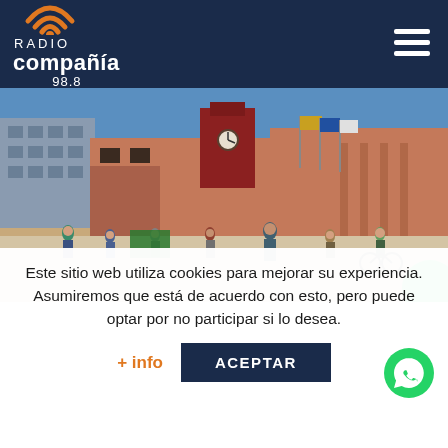[Figure (logo): Radio Compañía 98.8 logo with WiFi icon on dark navy background header with hamburger menu icon]
[Figure (photo): Outdoor scene in front of a brick municipal building with people gathered in a plaza, flags visible, blue sky]
Este sitio web utiliza cookies para mejorar su experiencia. Asumiremos que está de acuerdo con esto, pero puede optar por no participar si lo desea.
+ info
ACEPTAR